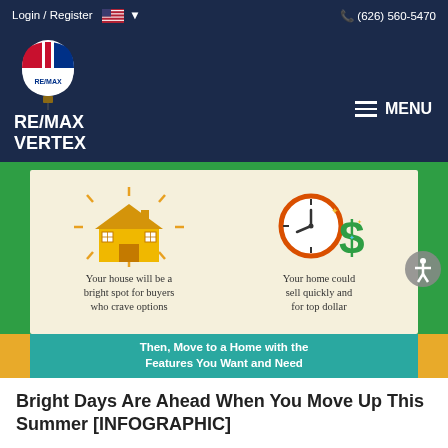Login / Register   (626) 560-5470
[Figure (logo): RE/MAX Vertex logo with hot-air balloon and brand name, dark navy header with MENU toggle]
[Figure (infographic): Real estate infographic showing a glowing yellow house icon with caption 'Your house will be a bright spot for buyers who crave options' and a clock with dollar sign icon with caption 'Your home could sell quickly and for top dollar'. Bottom teal banner reads 'Then, Move to a Home with the Features You Want and Need']
Bright Days Are Ahead When You Move Up This Summer [INFOGRAPHIC]